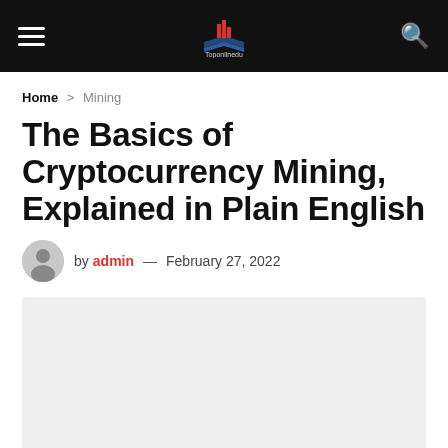Toponlinedu — navigation header with hamburger menu, logo, and search icon
Home > Mining
The Basics of Cryptocurrency Mining, Explained in Plain English
by admin — February 27, 2022
[Figure (photo): Featured article image placeholder — light gray rectangle]